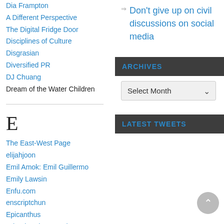Dia Frampton
A Different Perspective
The Digital Fridge Door
Disciplines of Culture
Disgrasian
Diversified PR
DJ Chuang
Dream of the Water Children
E
The East-West Page
elijahjoon
Emil Amok: Emil Guillermo
Emily Lawsin
Enfu.com
enscriptchun
Epicanthus
Eric Kim Photography
Eric Nakamura's Blog (Giant
Don't give up on civil discussions on social media
ARCHIVES
Select Month
LATEST TWEETS